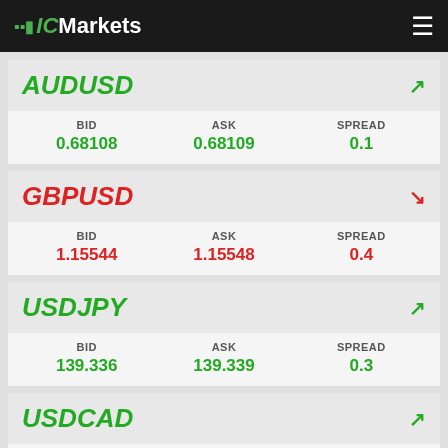IC Markets
AUDUSD
| BID | ASK | SPREAD |
| --- | --- | --- |
| 0.68108 | 0.68109 | 0.1 |
GBPUSD
| BID | ASK | SPREAD |
| --- | --- | --- |
| 1.15544 | 1.15548 | 0.4 |
USDJPY
| BID | ASK | SPREAD |
| --- | --- | --- |
| 139.336 | 139.339 | 0.3 |
USDCAD
| BID | ASK | SPREAD |
| --- | --- | --- |
| 1.3184 | 1.31844 | 0.4 |